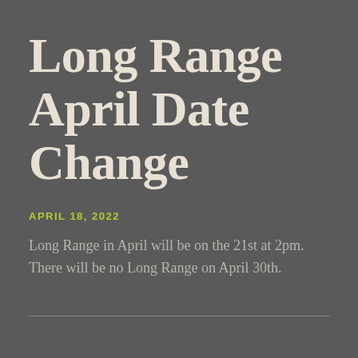Long Range April Date Change
APRIL 18, 2022
Long Range in April will be on the 21st at 2pm. There will be no Long Range on April 30th.